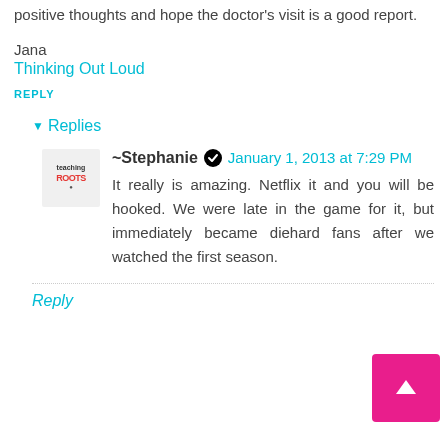positive thoughts and hope the doctor's visit is a good report.
Jana
Thinking Out Loud
REPLY
▾ Replies
~Stephanie  January 1, 2013 at 7:29 PM
It really is amazing. Netflix it and you will be hooked. We were late in the game for it, but immediately became diehard fans after we watched the first season.
Reply